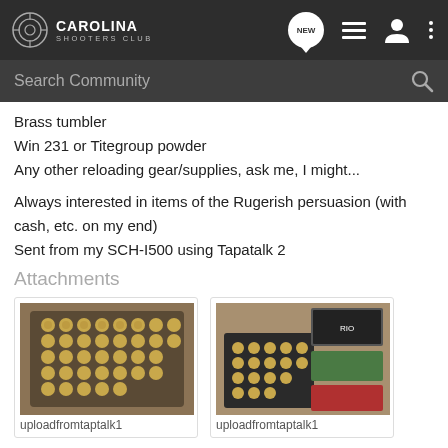CAROLINA SHOOTERS CLUB
Search Community
Brass tumbler
Win 231 or Titegroup powder
Any other reloading gear/supplies, ask me, I might...
Always interested in items of the Rugerish persuasion (with cash, etc. on my end)
Sent from my SCH-I500 using Tapatalk 2
Attachments
[Figure (photo): Photo of ammunition rounds in a black tray. Caption: uploadfromtaptalk1]
[Figure (photo): Photo of ammunition rounds with product boxes/labels. Caption: uploadfromtaptalk1]